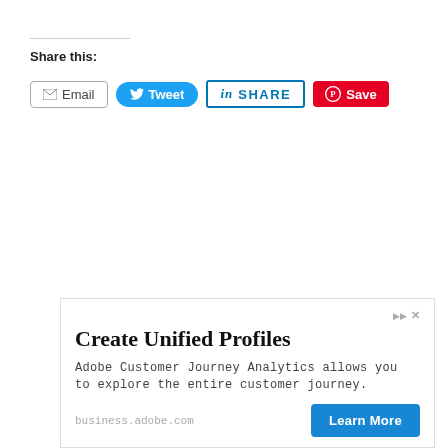Share this:
[Figure (screenshot): Social sharing buttons: Email, Tweet, SHARE (LinkedIn), Save (Pinterest)]
[Figure (screenshot): Advertisement for Adobe Customer Journey Analytics with title 'Create Unified Profiles', body text 'Adobe Customer Journey Analytics allows you to explore the entire customer journey.', URL 'business.adobe.com', and 'Learn More' button]